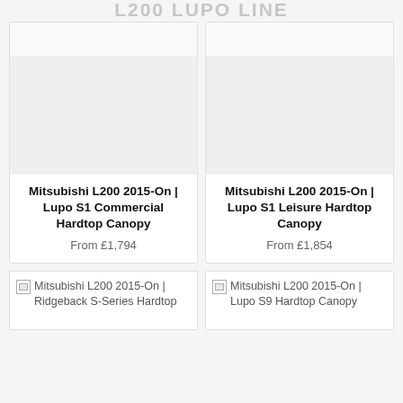...
[Figure (photo): Product image placeholder (white/light grey rectangle) for Mitsubishi L200 2015-On Lupo S1 Commercial Hardtop Canopy]
Mitsubishi L200 2015-On | Lupo S1 Commercial Hardtop Canopy
From £1,794
[Figure (photo): Product image placeholder (white/light grey rectangle) for Mitsubishi L200 2015-On Lupo S1 Leisure Hardtop Canopy]
Mitsubishi L200 2015-On | Lupo S1 Leisure Hardtop Canopy
From £1,854
[Figure (photo): Broken image placeholder for Mitsubishi L200 2015-On | Ridgeback S-Series Hardtop]
[Figure (photo): Broken image placeholder for Mitsubishi L200 2015-On | Lupo S9 Hardtop Canopy]